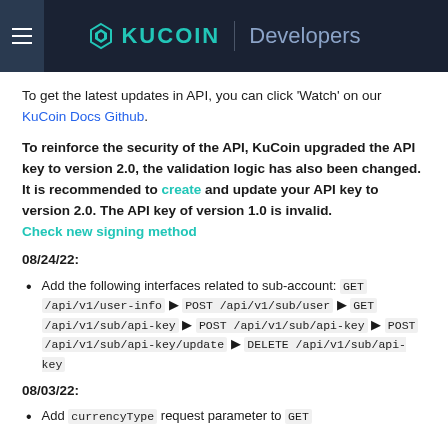KuCoin Developers
To get the latest updates in API, you can click 'Watch' on our KuCoin Docs Github.
To reinforce the security of the API, KuCoin upgraded the API key to version 2.0, the validation logic has also been changed. It is recommended to create and update your API key to version 2.0. The API key of version 1.0 is invalid. Check new signing method
08/24/22:
Add the following interfaces related to sub-account: GET /api/v1/user-info ▶ POST /api/v1/sub/user ▶ GET /api/v1/sub/api-key ▶ POST /api/v1/sub/api-key ▶ POST /api/v1/sub/api-key/update ▶ DELETE /api/v1/sub/api-key
08/03/22:
Add currencyType request parameter to GET